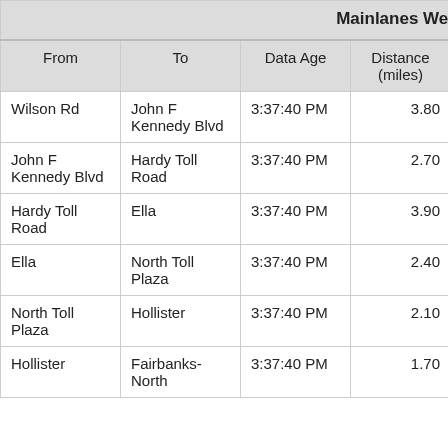| From | To | Data Age | Distance (miles) | Link Travel Time(m:ss) |
| --- | --- | --- | --- | --- |
| Wilson Rd | John F Kennedy Blvd | 3:37:40 PM | 3.80 | 3:3 |
| John F Kennedy Blvd | Hardy Toll Road | 3:37:40 PM | 2.70 | 4:3 |
| Hardy Toll Road | Ella | 3:37:40 PM | 3.90 | 3:2 |
| Ella | North Toll Plaza | 3:37:40 PM | 2.40 | 2:4 |
| North Toll Plaza | Hollister | 3:37:40 PM | 2.10 | 1:5 |
| Hollister | Fairbanks-North | 3:37:40 PM | 1.70 | 1:3 |